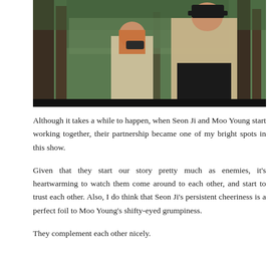[Figure (photo): Two people in a forest setting — a woman with auburn hair holding binoculars and a man in a beige trench coat and dark cap leaning forward, looking into the distance.]
Although it takes a while to happen, when Seon Ji and Moo Young start working together, their partnership became one of my bright spots in this show.
Given that they start our story pretty much as enemies, it's heartwarming to watch them come around to each other, and start to trust each other. Also, I do think that Seon Ji's persistent cheeriness is a perfect foil to Moo Young's shifty-eyed grumpiness.
They complement each other nicely.